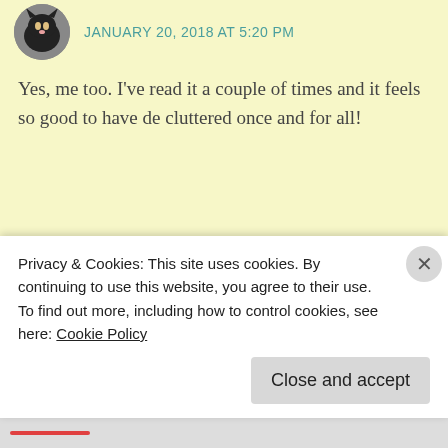JANUARY 20, 2018 AT 5:20 PM
Yes, me too. I've read it a couple of times and it feels so good to have de cluttered once and for all!
★ Liked by 1 person
REPLY
Sarah
JANUARY 20, 2018 AT 12:35 AM
Privacy & Cookies: This site uses cookies. By continuing to use this website, you agree to their use.
To find out more, including how to control cookies, see here: Cookie Policy
Close and accept